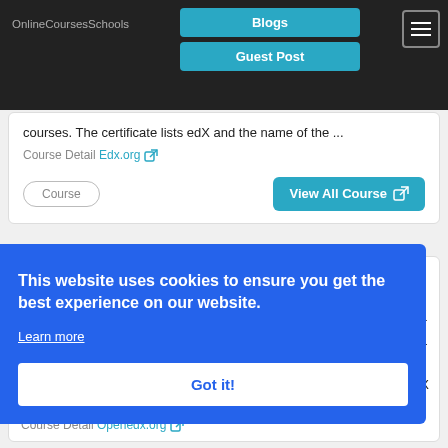OnlineCoursesSchools | Blogs | Guest Post
courses. The certificate lists edX and the name of the ...
Course Detail Edx.org
Course | View All Course
This website uses cookies to ensure you get the best experience on our website.
Learn more
Got it!
a Over dX
Course Detail Openedx.org